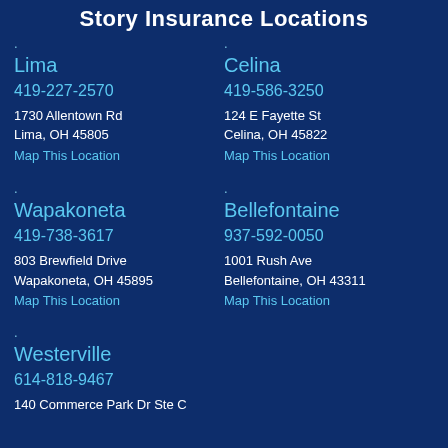Story Insurance Locations
Lima
419-227-2570
1730 Allentown Rd
Lima, OH 45805
Map This Location
Celina
419-586-3250
124 E Fayette St
Celina, OH 45822
Map This Location
Wapakoneta
419-738-3617
803 Brewfield Drive
Wapakoneta, OH 45895
Map This Location
Bellefontaine
937-592-0050
1001 Rush Ave
Bellefontaine, OH 43311
Map This Location
Westerville
614-818-9467
140 Commerce Park Dr Ste C